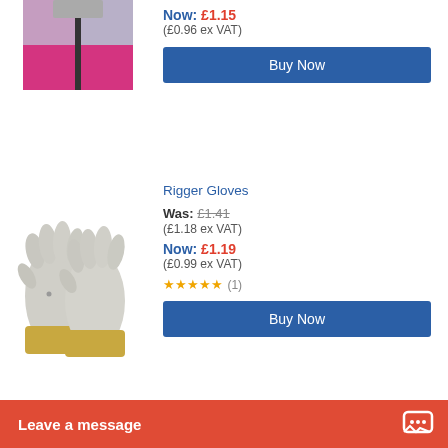[Figure (photo): Partial view of a pink/magenta high-visibility safety vest product image (top of page, cropped)]
Now: £1.15 (£0.96 ex VAT)
Buy Now
Rigger Gloves
Was: £1.41 (£1.18 ex VAT)
Now: £1.19 (£0.99 ex VAT)
★★★★★ (1)
Buy Now
[Figure (photo): Rigger gloves — grey leather work gloves with yellow/tan cuffs]
LifeGear Classic Style Safety Glasses EN166
Was: £1.41 (£1.18 ex VAT)
Now: £1.20 (£1.00 ex VAT)
[Figure (photo): Safety glasses — clear lens, black frame]
Leave a message